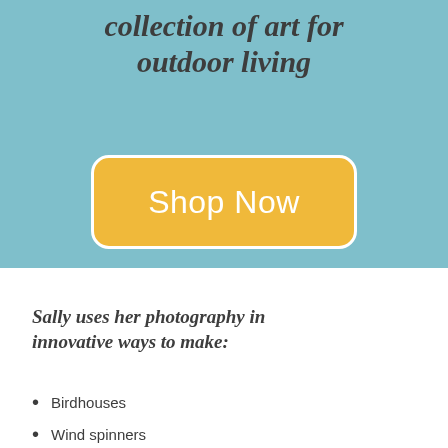collection of art for outdoor living
[Figure (other): Shop Now button - yellow/orange rounded rectangle with white text on teal background]
Sally uses her photography in innovative ways to make:
Birdhouses
Wind spinners